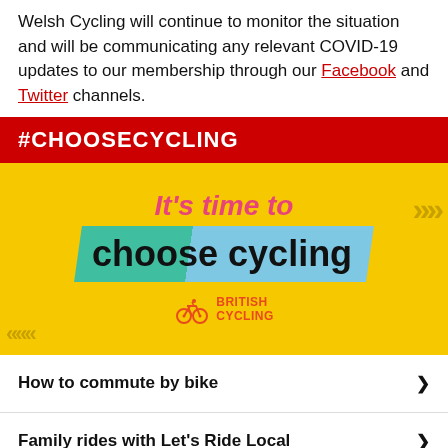Welsh Cycling will continue to monitor the situation and will be communicating any relevant COVID-19 updates to our membership through our Facebook and Twitter channels.
#CHOOSECYCLING
[Figure (illustration): Yellow banner advertisement for British Cycling's 'It's time to choose cycling' campaign. Features pink italic text 'It's time to', large bold text 'choose cycling' on a green-to-blue diagonal background, decorative chevrons, and the British Cycling logo.]
How to commute by bike
Family rides with Let's Ride Local